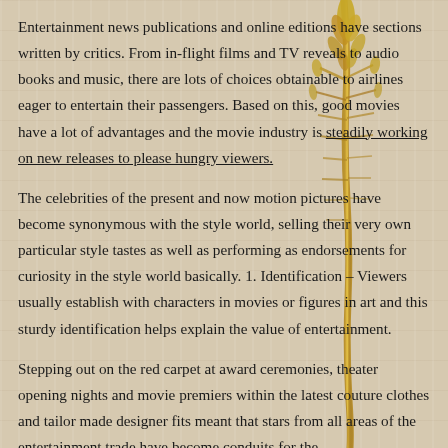Entertainment news publications and online editions have sections written by critics. From in-flight films and TV reveals to audio books and music, there are lots of choices obtainable to airlines eager to entertain their passengers. Based on this, good movies have a lot of advantages and the movie industry is steadily working on new releases to please hungry viewers.
The celebrities of the present and now motion pictures have become synonymous with the style world, selling their very own particular style tastes as well as performing as endorsements for curiosity in the style world basically. 1. Identification – Viewers usually establish with characters in movies or figures in art and this sturdy identification helps explain the value of entertainment.
Stepping out on the red carpet at award ceremonies, theater opening nights and movie premiers within the latest couture clothes and tailor made designer fits meant that stars from all areas of the entertainment trade have become conduits for the
[Figure (photo): A vertical wheat or dried grass stalk/stem running along the right side of the page, golden-brown in color, overlapping the text.]